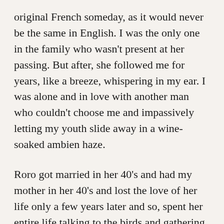original French someday, as it would never be the same in English. I was the only one in the family who wasn't present at her passing. But after, she followed me for years, like a breeze, whispering in my ear. I was alone and in love with another man who couldn't choose me and impassively letting my youth slide away in a wine-soaked ambien haze.
Roro got married in her 40's and had my mother in her 40's and lost the love of her life only a few years later and so, spent her entire life talking to the birds and gathering violets and dried palms that were tucked behind the blond, blue-eyed Jesus who hung in her bedroom, in the center, above the two single beds with violet lace bedspreads, where she and my